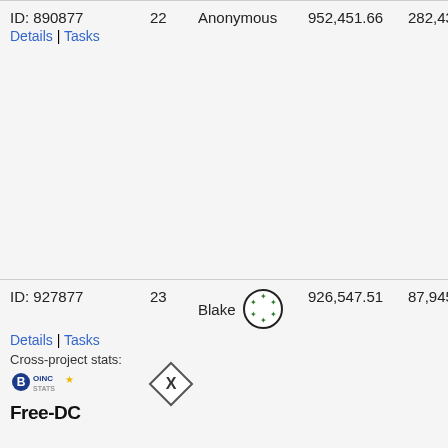ID: 890877   22   Anonymous   952,451.66   282,437,355   7.
Details | Tasks
ID: 927877   23   Blake   926,547.51   87,945,651   7.
Details | Tasks
Cross-project stats:
[Figure (logo): BOINC Stats logo]
[Figure (logo): Free-DC logo in bold black text]
[Figure (illustration): Green star circle badge next to Blake name, and a diamond X badge below]